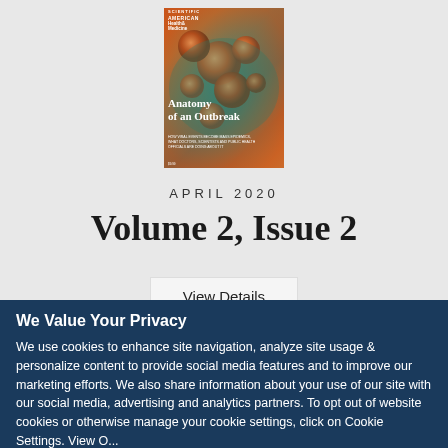[Figure (illustration): Scientific American Health & Medicine magazine cover titled 'Anatomy of an Outbreak' showing orange and teal virus particles on a microscopy background]
APRIL 2020
Volume 2, Issue 2
View Details
We Value Your Privacy
We use cookies to enhance site navigation, analyze site usage & personalize content to provide social media features and to improve our marketing efforts. We also share information about your use of our site with our social media, advertising and analytics partners. To opt out of website cookies or otherwise manage your cookie settings, click on Cookie Settings. View O...